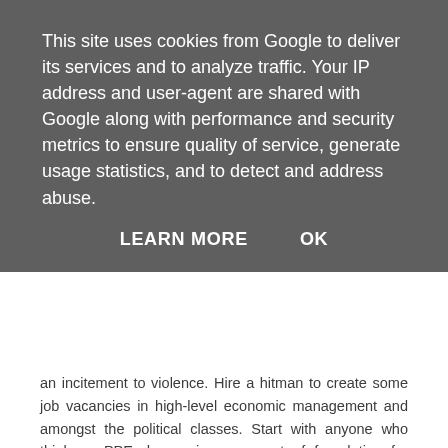This site uses cookies from Google to deliver its services and to analyze traffic. Your IP address and user-agent are shared with Google along with performance and security metrics to ensure quality of service, generate usage statistics, and to detect and address abuse.
LEARN MORE    OK
an incitement to violence. Hire a hitman to create some job vacancies in high-level economic management and amongst the political classes. Start with anyone who thinks a PPE degree is some sort of foundation for running an economy. Evidence of that error is overwhelming. Oh, and invest in a spread of real assets. Inflated-away cash is gone forever!
Reply
E-K  9:01 am
This comment has been removed by the author.
Reply